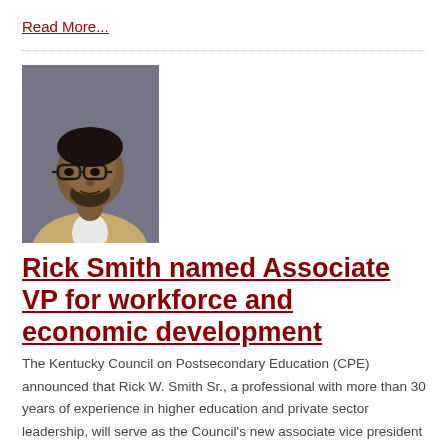Read More...
[Figure (photo): Headshot of Rick W. Smith Sr., a man with glasses and a beard wearing a light-colored jacket against a grey background.]
Rick Smith named Associate VP for workforce and economic development
The Kentucky Council on Postsecondary Education (CPE) announced that Rick W. Smith Sr., a professional with more than 30 years of experience in higher education and private sector leadership, will serve as the Council's new associate vice president for workforce and economic development.